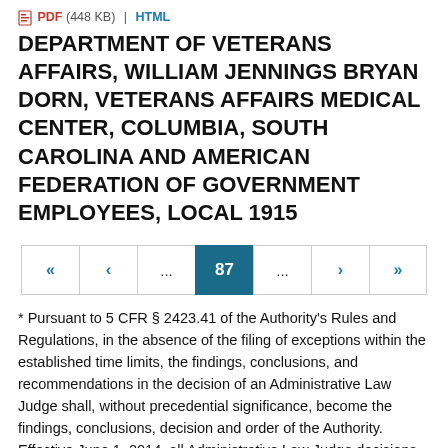PDF (448 KB) | HTML
DEPARTMENT OF VETERANS AFFAIRS, WILLIAM JENNINGS BRYAN DORN, VETERANS AFFAIRS MEDICAL CENTER, COLUMBIA, SOUTH CAROLINA AND AMERICAN FEDERATION OF GOVERNMENT EMPLOYEES, LOCAL 1915
« < ... 87 ... > »
* Pursuant to 5 CFR § 2423.41 of the Authority's Rules and Regulations, in the absence of the filing of exceptions within the established time limits, the findings, conclusions, and recommendations in the decision of an Administrative Law Judge shall, without precedential significance, become the findings, conclusions, decision and order of the Authority. Effective June 1, 2014, all Administrative Law Judge decisions are publicly posted on